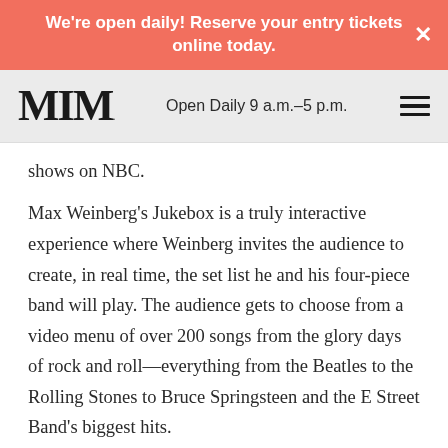We're open daily! Reserve your entry tickets online today. ×
MIM  Open Daily 9 a.m.–5 p.m.
shows on NBC.
Max Weinberg's Jukebox is a truly interactive experience where Weinberg invites the audience to create, in real time, the set list he and his four-piece band will play. The audience gets to choose from a video menu of over 200 songs from the glory days of rock and roll—everything from the Beatles to the Rolling Stones to Bruce Springsteen and the E Street Band's biggest hits.
More Information